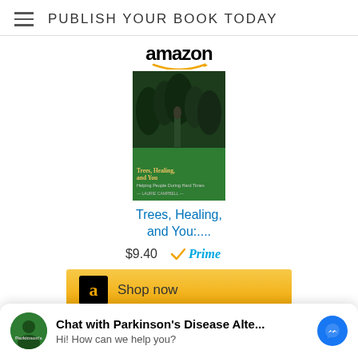PUBLISH YOUR BOOK TODAY
[Figure (logo): Amazon logo (small, top) with orange arrow swoosh]
[Figure (photo): Book cover for 'Trees, Healing, and You' - green cover with forest image]
Trees, Healing, and You:....
$9.40
[Figure (logo): Amazon Prime badge with checkmark]
[Figure (logo): Amazon Shop now button with orange/gold background]
[Figure (logo): Amazon logo (large) with orange arrow swoosh, below orange divider line]
[Figure (photo): Jack Canfield banner/book partial - orange band at top]
[Figure (screenshot): Chat widget: Chat with Parkinson's Disease Alte... / Hi! How can we help you? with Messenger icon]